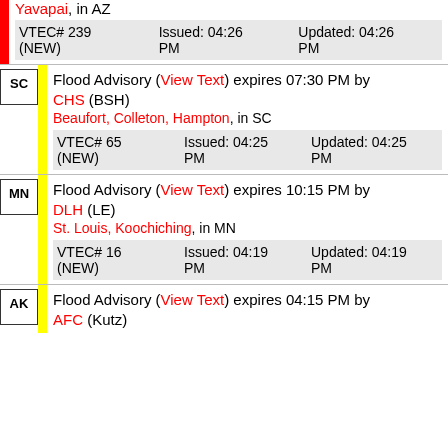Yavapai, in AZ — VTEC# 239 (NEW) Issued: 04:26 PM Updated: 04:26 PM
SC — Flood Advisory (View Text) expires 07:30 PM by CHS (BSH) — Beaufort, Colleton, Hampton, in SC — VTEC# 65 (NEW) Issued: 04:25 PM Updated: 04:25 PM
MN — Flood Advisory (View Text) expires 10:15 PM by DLH (LE) — St. Louis, Koochiching, in MN — VTEC# 16 (NEW) Issued: 04:19 PM Updated: 04:19 PM
AK — Flood Advisory (View Text) expires 04:15 PM by AFC (Kutz)